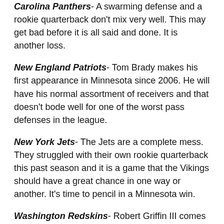Carolina Panthers A swarming defense and a rookie quarterback don't mix very well. This may get bad before it is all said and done. It is another loss.
New England Patriots Tom Brady makes his first appearance in Minnesota since 2006. He will have his normal assortment of receivers and that doesn't bode well for one of the worst pass defenses in the league.
New York Jets The Jets are a complete mess. They struggled with their own rookie quarterback this past season and it is a game that the Vikings should have a great chance in one way or another. It's time to pencil in a Minnesota win.
Washington Redskins Robert Griffin III comes to town with a new coach just like the Vikings will have. There is really no reason why the Vikings can't slow Griffin down.